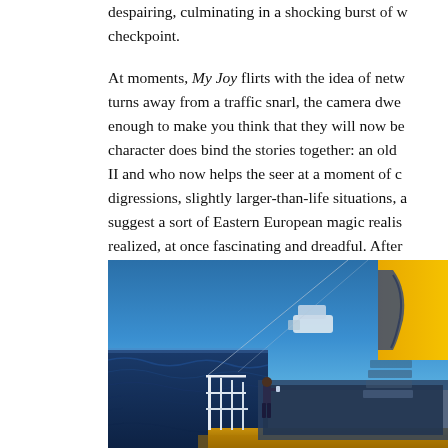despairing, culminating in a shocking burst of w... checkpoint.

At moments, My Joy flirts with the idea of netw... turns away from a traffic snarl, the camera dwe... enough to make you think that they will now be... character does bind the stories together: an old ... II and who now helps the seer at a moment of c... digressions, slightly larger-than-life situations, a... suggest a sort of Eastern European magic realis... realized, at once fascinating and dreadful. After... it again.
[Figure (photo): A person walking alone on the deck of a cruise ship at dusk or night. The ocean is visible on the left in deep blue tones. The ship's funnel with a yellow/orange logo is partially visible in the upper right. The deck has white railings and yellow deck markings.]